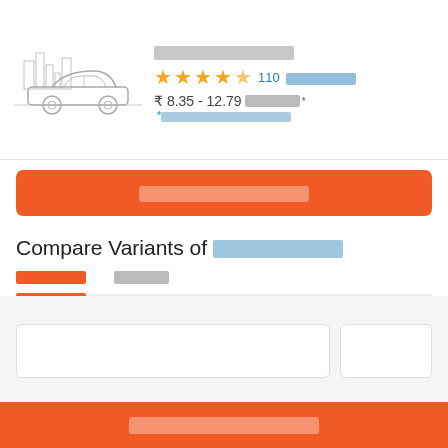[Figure (illustration): Line drawing of a sedan car with city skyline in background, grey tones]
Car model name (redacted)
4.5 star rating, 110 reviews (redacted text)
₹ 8.35 - 12.79 (redacted)* *(redacted text)
Orange CTA button (redacted label)
Compare Variants of [model name redacted]
Tab 1: active (orange, redacted) | Tab 2: (redacted)
[Figure (screenshot): Two variant selector cards, partially visible]
Bottom orange CTA button (redacted label)